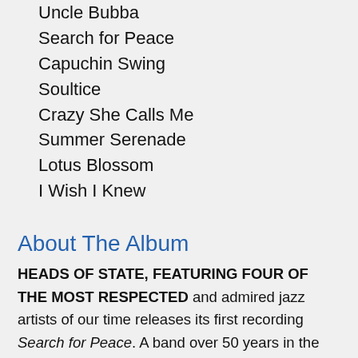Uncle Bubba
Search for Peace
Capuchin Swing
Soultice
Crazy She Calls Me
Summer Serenade
Lotus Blossom
I Wish I Knew
About The Album
HEADS OF STATE, FEATURING FOUR OF THE MOST RESPECTED and admired jazz artists of our time releases its first recording Search for Peace. A band over 50 years in the making, Gary Bartz, Larry Willis, Buster Williams, and Al Foster had performed together countless times in different combinations